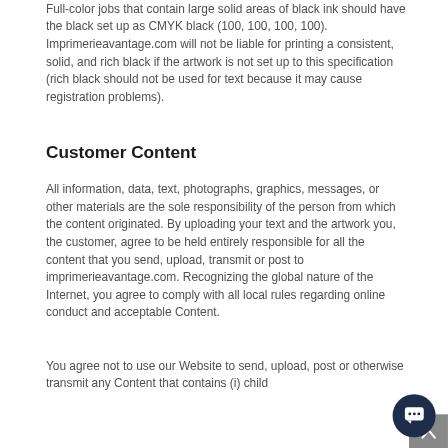Full-color jobs that contain large solid areas of black ink should have the black set up as CMYK black (100, 100, 100, 100). Imprimerieavantage.com will not be liable for printing a consistent, solid, and rich black if the artwork is not set up to this specification (rich black should not be used for text because it may cause registration problems).
Customer Content
All information, data, text, photographs, graphics, messages, or other materials are the sole responsibility of the person from which the content originated. By uploading your text and the artwork you, the customer, agree to be held entirely responsible for all the content that you send, upload, transmit or post to imprimerieavantage.com. Recognizing the global nature of the Internet, you agree to comply with all local rules regarding online conduct and acceptable Content.
You agree not to use our Website to send, upload, post or otherwise transmit any Content that contains (i) child...